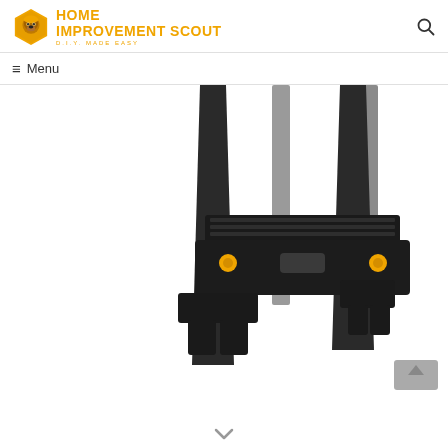[Figure (logo): Home Improvement Scout logo with orange hexagonal icon and orange bold text reading HOME IMPROVEMENT SCOUT with tagline D.I.Y. MADE EASY]
[Figure (photo): Close-up photo of the base of a black step stool or ladder with orange bolts/rivets, showing the bottom step and feet structure against a white background]
Menu